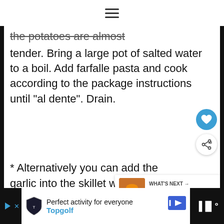≡
the potatoes are almost tender. Bring a large pot of salted water to a boil. Add farfalle pasta and cook according to the package instructions until "al dente". Drain.
* Alternatively you can add the garlic into the skillet with veggies, cook until
Perfect activity for everyone Topgolf